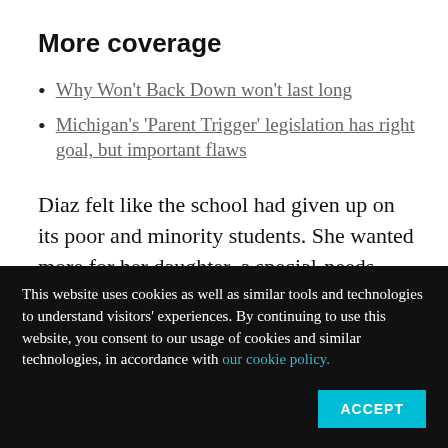More coverage
Why Won't Back Down won't last long
Michigan's 'Parent Trigger' legislation has right goal, but important flaws
Diaz felt like the school had given up on its poor and minority students. She wanted more for her daughter, a special-needs student who started
This website uses cookies as well as similar tools and technologies to understand visitors' experiences. By continuing to use this website, you consent to our usage of cookies and similar technologies, in accordance with our cookie policy.